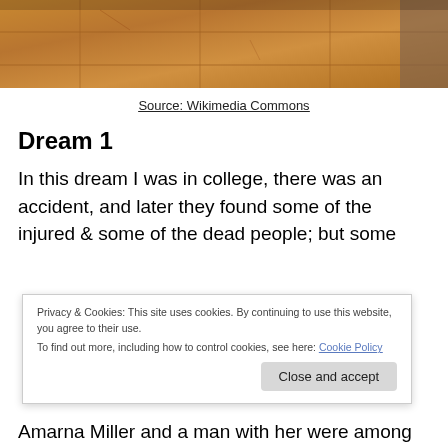[Figure (photo): A photo of stone tile floor with warm brown and orange tones, partially cropped at top of page.]
Source: Wikimedia Commons
Dream 1
In this dream I was in college, there was an accident, and later they found some of the injured & some of the dead people; but some
Privacy & Cookies: This site uses cookies. By continuing to use this website, you agree to their use.
To find out more, including how to control cookies, see here: Cookie Policy
Amarna Miller and a man with her were among